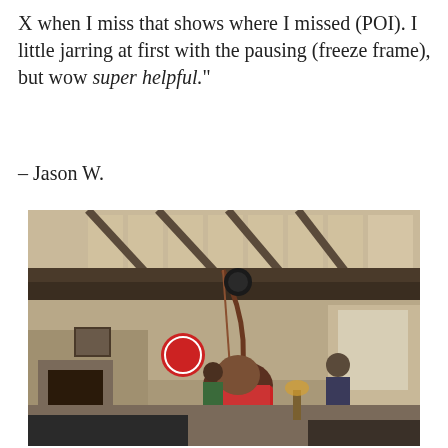X when I miss that shows where I missed (POI). I little jarring at first with the pausing (freeze frame), but wow super helpful."
– Jason W.
[Figure (photo): Indoor photo of a person aiming a recurve bow upward inside what appears to be an archery club or lodge. The ceiling has exposed wooden beams and skylights. Several other people are visible in the background along with decorative items on the walls.]